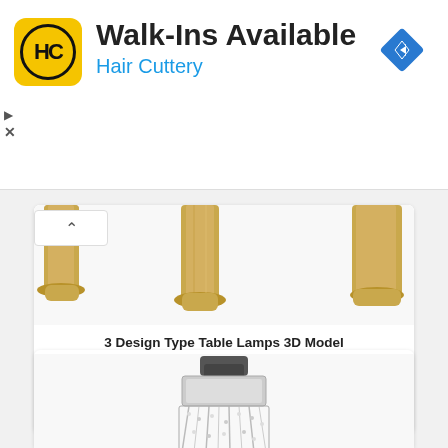[Figure (screenshot): Advertisement banner for Hair Cuttery with yellow HC logo, text 'Walk-Ins Available' and 'Hair Cuttery', and a blue navigation/direction icon on the right]
[Figure (photo): Three gold/brass table lamp bases shown from above, partially cropped]
3 Design Type Table Lamps 3D Model
Simple 3 Design Type Table Lamps 3D Model free download. No textures needed. Formats: 3Ds Max (.max), fbx, obj Size:...
[Figure (photo): Crystal chandelier or pendant light fixture, silver/chrome colored, partially shown from below]